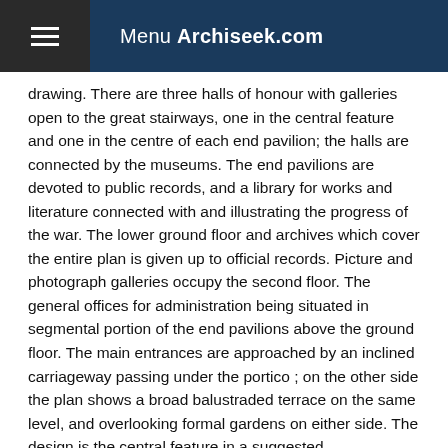Menu Archiseek.com
drawing. There are three halls of honour with galleries open to the great stairways, one in the central feature and one in the centre of each end pavilion; the halls are connected by the museums. The end pavilions are devoted to public records, and a library for works and literature connected with and illustrating the progress of the war. The lower ground floor and archives which cover the entire plan is given up to official records. Picture and photograph galleries occupy the second floor. The general offices for administration being situated in segmental portion of the end pavilions above the ground floor. The main entrances are approached by an inclined carriageway passing under the portico ; on the other side the plan shows a broad balustraded terrace on the same level, and overlooking formal gardens on either side. The design is the central feature in a suggested reconstruction scheme in the metropolis. The architect is Capt. B. Neville-Smith, of Reading." Published in The Building News, June 16 1919.